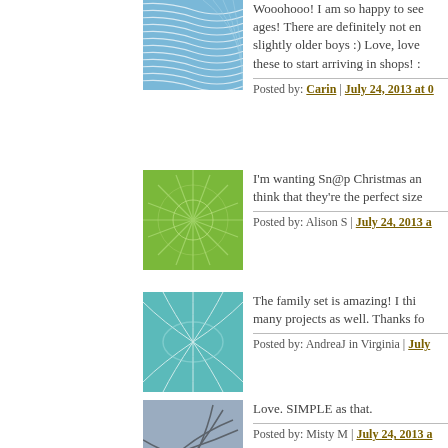[Figure (illustration): Blue wave pattern avatar icon]
Wooohooo! I am so happy to see ages! There are definitely not en slightly older boys :) Love, love these to start arriving in shops! :
Posted by: Carin | July 24, 2013 at 0
[Figure (illustration): Green starburst pattern avatar icon]
I'm wanting Sn@p Christmas an think that they're the perfect size
Posted by: Alison S | July 24, 2013 a
[Figure (illustration): Teal/cyan circular pattern avatar icon]
The family set is amazing! I thi many projects as well. Thanks fo
Posted by: AndreaJ in Virginia | July
[Figure (illustration): Blue-grey abstract lines pattern avatar icon]
Love. SIMPLE as that.
Posted by: Misty M | July 24, 2013 a
[Figure (illustration): Teal/blue striped circular pattern avatar icon]
The boy and family sets are awe